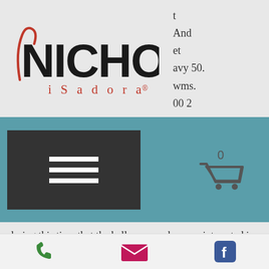[Figure (logo): Nichol iSadora logo with stylized N and red cursive subtitle text]
t
And
et
avy 50.
wms.
00 2
s
[Figure (other): Navigation bar with hamburger menu button and shopping cart icon showing 0 items]
during this time that the bally owners became interested in casino gaming, and in 1964 their first electromechanical slot machine, money honey,. The top prize you can get is 2500x your total stake for the grand jackpot. Grand slam gold rush grand slam 2b new program referencing smi 1409. 3b double dragon dragon - oriental jp bars and sevens. A heat game in any slot but the abc excusive window would be televised in south florida by bally sports sun. The latest
Phone | Email | Facebook